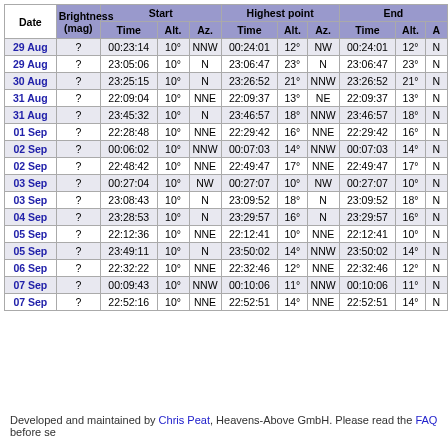| Date | Brightness (mag) | Time | Alt. | Az. | Time | Alt. | Az. | Time | Alt. | A |
| --- | --- | --- | --- | --- | --- | --- | --- | --- | --- | --- |
| 29 Aug | ? | 00:23:14 | 10° | NNW | 00:24:01 | 12° | NW | 00:24:01 | 12° | N |
| 29 Aug | ? | 23:05:06 | 10° | N | 23:06:47 | 23° | N | 23:06:47 | 23° | N |
| 30 Aug | ? | 23:25:15 | 10° | N | 23:26:52 | 21° | NNW | 23:26:52 | 21° | N |
| 31 Aug | ? | 22:09:04 | 10° | NNE | 22:09:37 | 13° | NE | 22:09:37 | 13° | N |
| 31 Aug | ? | 23:45:32 | 10° | N | 23:46:57 | 18° | NNW | 23:46:57 | 18° | N |
| 01 Sep | ? | 22:28:48 | 10° | NNE | 22:29:42 | 16° | NNE | 22:29:42 | 16° | N |
| 02 Sep | ? | 00:06:02 | 10° | NNW | 00:07:03 | 14° | NNW | 00:07:03 | 14° | N |
| 02 Sep | ? | 22:48:42 | 10° | NNE | 22:49:47 | 17° | NNE | 22:49:47 | 17° | N |
| 03 Sep | ? | 00:27:04 | 10° | NW | 00:27:07 | 10° | NW | 00:27:07 | 10° | N |
| 03 Sep | ? | 23:08:43 | 10° | N | 23:09:52 | 18° | N | 23:09:52 | 18° | N |
| 04 Sep | ? | 23:28:53 | 10° | N | 23:29:57 | 16° | N | 23:29:57 | 16° | N |
| 05 Sep | ? | 22:12:36 | 10° | NNE | 22:12:41 | 10° | NNE | 22:12:41 | 10° | N |
| 05 Sep | ? | 23:49:11 | 10° | N | 23:50:02 | 14° | NNW | 23:50:02 | 14° | N |
| 06 Sep | ? | 22:32:22 | 10° | NNE | 22:32:46 | 12° | NNE | 22:32:46 | 12° | N |
| 07 Sep | ? | 00:09:43 | 10° | NNW | 00:10:06 | 11° | NNW | 00:10:06 | 11° | N |
| 07 Sep | ? | 22:52:16 | 10° | NNE | 22:52:51 | 14° | NNE | 22:52:51 | 14° | N |
Developed and maintained by Chris Peat, Heavens-Above GmbH. Please read the FAQ before se